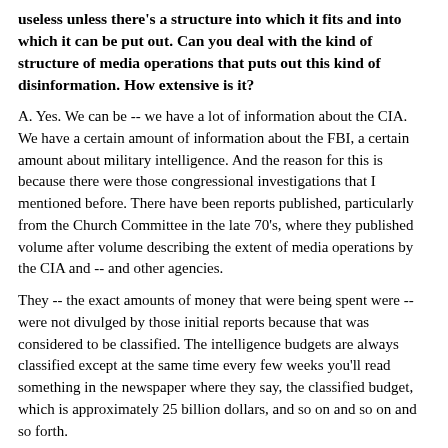useless unless there's a structure into which it fits and into which it can be put out. Can you deal with the kind of structure of media operations that puts out this kind of disinformation. How extensive is it?
A. Yes. We can be -- we have a lot of information about the CIA. We have a certain amount of information about the FBI, a certain amount about military intelligence. And the reason for this is because there were those congressional investigations that I mentioned before. There have been reports published, particularly from the Church Committee in the late 70's, where they published volume after volume describing the extent of media operations by the CIA and -- and other agencies.
They -- the exact amounts of money that were being spent were -- were not divulged by those initial reports because that was considered to be classified. The intelligence budgets are always classified except at the same time every few weeks you'll read something in the newspaper where they say, the classified budget, which is approximately 25 billion dollars, and so on and so on and so forth.
So what we -- what we have learned from these reports is that -- the first thing was that about a third of the whole CIA budget went to media propaganda operations.